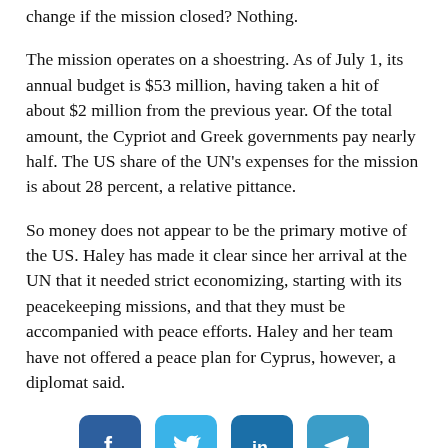change if the mission closed? Nothing.
The mission operates on a shoestring. As of July 1, its annual budget is $53 million, having taken a hit of about $2 million from the previous year. Of the total amount, the Cypriot and Greek governments pay nearly half. The US share of the UN’s expenses for the mission is about 28 percent, a relative pittance.
So money does not appear to be the primary motive of the US. Haley has made it clear since her arrival at the UN that it needed strict economizing, starting with its peacekeeping missions, and that they must be accompanied with peace efforts. Haley and her team have not offered a peace plan for Cyprus, however, a diplomat said.
[Figure (other): Social media sharing buttons: Facebook, Twitter, LinkedIn, Telegram]